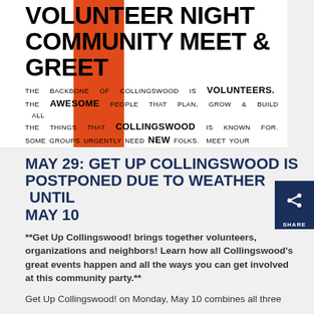[Figure (illustration): Volunteer Night Community Meet & Greet poster with orange diagonal bar/arrow graphic on white background. Text reads: THE BACKBONE OF COLLINGSWOOD IS VOLUNTEERS. THE AWESOME PEOPLE THAT PLAN, GROW & BUILD ALL THE THINGS THAT COLLINGSWOOD IS KNOWN FOR. SOME GROUPS URGENTLY NEED NEW FOLKS. MEET YOUR NEIGHBORS AND LEARN HOW YOU CAN GET INVOLVED. WHERE CAN YOU HELP? FIND A GOOD FIT AND GET UP!]
MAY 29: GET UP COLLINGSWOOD IS POSTPONED DUE TO WEATHER UNTIL MAY 10
**Get Up Collingswood! brings together volunteers, organizations and neighbors! Learn how all Collingswood's great events happen and all the ways you can get involved at this community party.**
Get Up Collingswood! on Monday, May 10 combines all three